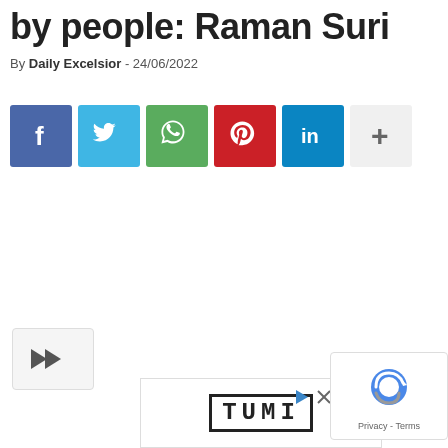by people: Raman Suri
By Daily Excelsior - 24/06/2022
[Figure (infographic): Social media share buttons: Facebook (blue), Twitter (light blue), WhatsApp (green), Pinterest (red), LinkedIn (dark blue), More/Plus (light grey)]
[Figure (infographic): Share arrow icon button in bottom left]
[Figure (infographic): TUMI advertisement banner at bottom]
[Figure (infographic): reCAPTCHA badge with Privacy - Terms text at bottom right]